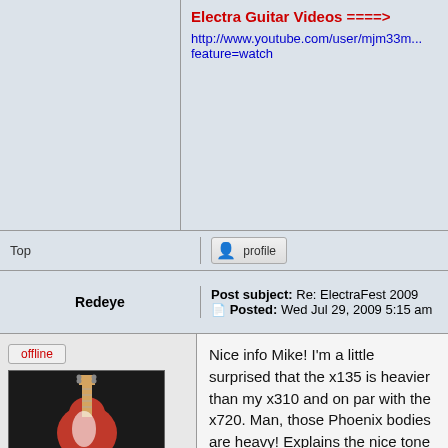Electra Guitar Videos ====>
http://www.youtube.com/user/mjm33m...feature=watch
Top
profile
Redeye
Post subject: Re: ElectraFest 2009  Posted: Wed Jul 29, 2009 5:15 am
[Figure (photo): Red electric guitar (Stratocaster-style) on dark background]
offline
Joined: Sun Mar 12, 2006 9:00 pm
Posts: 265
Location: Iowa, USA
Nice info Mike! I'm a little surprised that the x135 is heavier than my x310 and on par with the x720. Man, those Phoenix bodies are heavy! Explains the nice tone and sustain I guess....
Bummer about the recording mix, but heck - after the success of EF'09, I highly doubt that it will be the last!